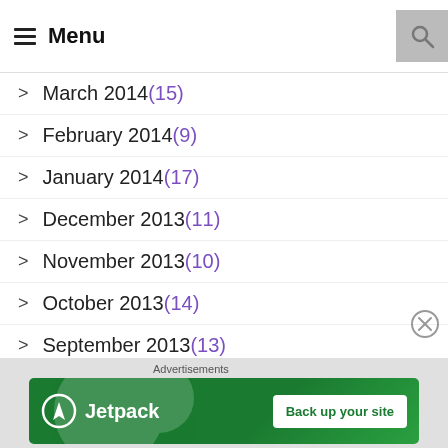Menu
March 2014 (15)
February 2014 (9)
January 2014 (17)
December 2013 (11)
November 2013 (10)
October 2013 (14)
September 2013 (13)
[Figure (screenshot): Jetpack advertisement banner with 'Back up your site' button]